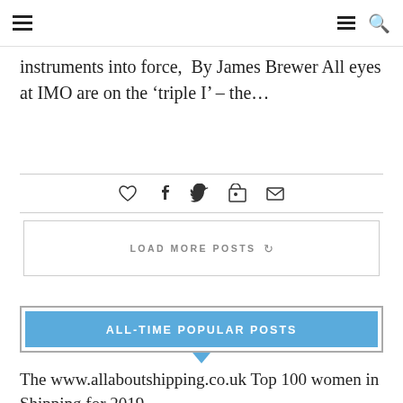Navigation header with hamburger menus and search icon
instruments into force,  By James Brewer All eyes at IMO are on the ‘triple I’ – the…
[Figure (infographic): Social share bar with heart/like, Facebook, Twitter, LinkedIn, and email icons]
LOAD MORE POSTS
ALL-TIME POPULAR POSTS
The www.allaboutshipping.co.uk Top 100 women in Shipping for 2019